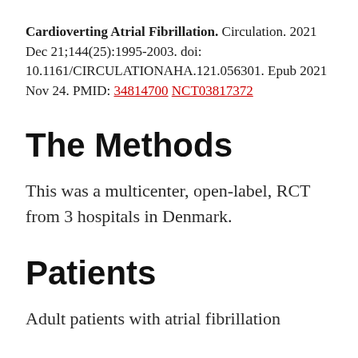Cardioverting Atrial Fibrillation. Circulation. 2021 Dec 21;144(25):1995-2003. doi: 10.1161/CIRCULATIONAHA.121.056301. Epub 2021 Nov 24. PMID: 34814700 NCT03817372
The Methods
This was a multicenter, open-label, RCT from 3 hospitals in Denmark.
Patients
Adult patients with atrial fibrillation